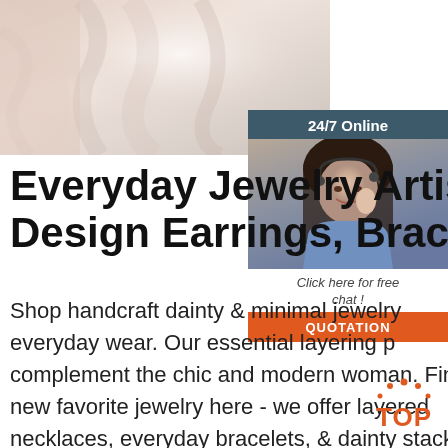[Figure (photo): Hero banner photo of wedding dress fabric, soft pink/cream tones with draped tulle or chiffon fabric in background]
[Figure (infographic): 24/7 Online chat widget with dark teal header, photo of smiling woman with headset, 'Click here for free chat!' text, and orange QUOTATION button]
Everyday Jewelry Artis... Design Earrings, Brace...
Shop handcraft dainty & minimal jewelry... everyday wear. Our essential layering p... complement the chic and modern woman. Find your new favorite jewelry here - we offer layered necklaces, everyday bracelets, & dainty stacking rings.
[Figure (logo): Orange TOP badge/logo with dot pattern]